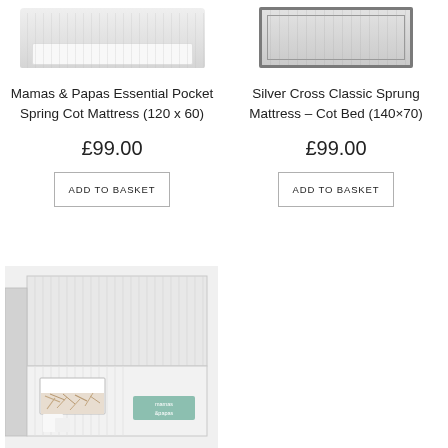[Figure (photo): Mamas & Papas Essential Pocket Spring Cot Mattress product image, partially cropped at top]
[Figure (photo): Silver Cross Classic Sprung Mattress Cot Bed product image, partially cropped at top]
Mamas & Papas Essential Pocket Spring Cot Mattress (120 x 60)
Silver Cross Classic Sprung Mattress – Cot Bed (140×70)
£99.00
£99.00
ADD TO BASKET
ADD TO BASKET
[Figure (photo): Close-up corner view of a Mamas & Papas cot mattress showing ribbed fabric texture, handle opening with natural fill visible, and green brand label]